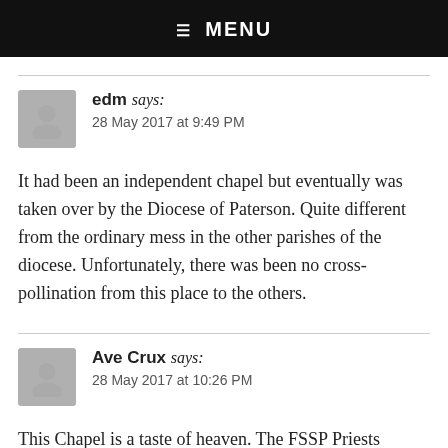☰ MENU
edm says:
28 May 2017 at 9:49 PM
It had been an independent chapel but eventually was taken over by the Diocese of Paterson. Quite different from the ordinary mess in the other parishes of the diocese. Unfortunately, there was been no cross-pollination from this place to the others.
Ave Crux says:
28 May 2017 at 10:26 PM
This Chapel is a taste of heaven. The FSSP Priests assigned there over the years are exceptional – gifts from God. The